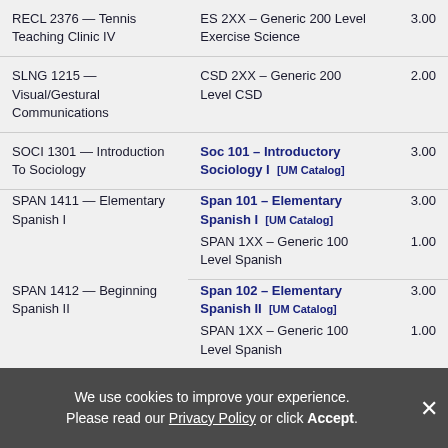| Source Course | Equivalent Course | Credits |
| --- | --- | --- |
| RECL 2376 — Tennis Teaching Clinic IV | ES 2XX – Generic 200 Level Exercise Science | 3.00 |
| SLNG 1215 — Visual/Gestural Communications | CSD 2XX – Generic 200 Level CSD | 2.00 |
| SOCI 1301 — Introduction To Sociology | Soc 101 – Introductory Sociology I [UM Catalog] | 3.00 |
| SPAN 1411 — Elementary Spanish I | Span 101 – Elementary Spanish I [UM Catalog]
SPAN 1XX – Generic 100 Level Spanish | 3.00
1.00 |
| SPAN 1412 — Beginning Spanish II | Span 102 – Elementary Spanish II [UM Catalog]
SPAN 1XX – Generic 100 Level Spanish | 3.00
1.00 |
| SPCH 1144 — Forensic Act | UM 1XX – Generic 100 Level General University | 1.00 |
We use cookies to improve your experience. Please read our Privacy Policy or click Accept.